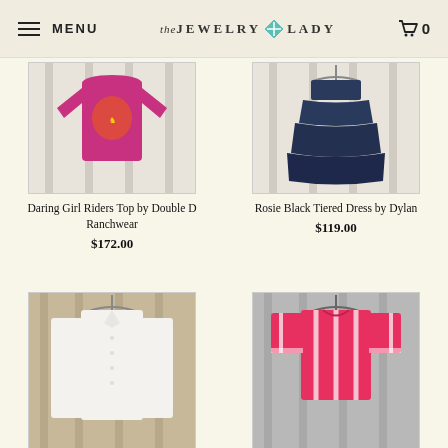MENU | the JEWELRY LADY | 0
[Figure (photo): Pink/magenta graphic t-shirt with horse design hanging on white wood background]
Daring Girl Riders Top by Double D Ranchwear
$172.00
[Figure (photo): Dark navy blue tiered dress hanging on white wood background]
Rosie Black Tiered Dress by Dylan
$119.00
[Figure (photo): White long-sleeve button-up shirt hanging on wooden background]
[Figure (photo): Pink and white striped short-sleeve blouse with embroidery hanging on gray background]